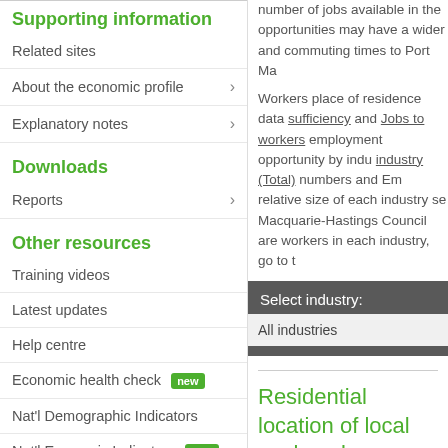Supporting information
Related sites
About the economic profile
Explanatory notes
Downloads
Reports
Other resources
Training videos
Latest updates
Help centre
Economic health check new
Nat'l Demographic Indicators
Nat'l Economic Indicators new
Resource centre
Blog
Understand your LGA's liveability
number of jobs available in the opportunities may have a wider and commuting times to Port Ma
Workers place of residence data sufficiency and Jobs to workers employment opportunity by industry industry (Total) numbers and Em relative size of each industry se Macquarie-Hastings Council are workers in each industry, go to t
[Figure (screenshot): Select industry dropdown with 'All industries' selected on dark grey background]
Residential location of local workers by